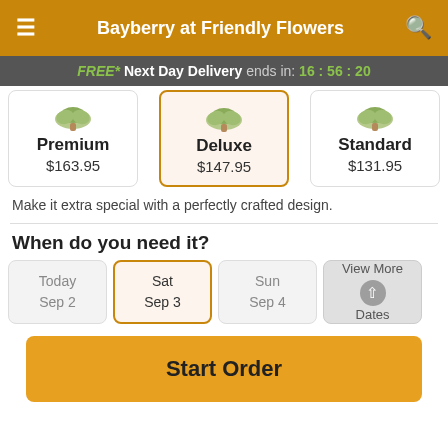Bayberry at Friendly Flowers
FREE* Next Day Delivery ends in: 16:56:20
| Premium | Deluxe | Standard |
| --- | --- | --- |
| $163.95 | $147.95 | $131.95 |
Make it extra special with a perfectly crafted design.
When do you need it?
Today Sep 2
Sat Sep 3
Sun Sep 4
View More Dates
Start Order